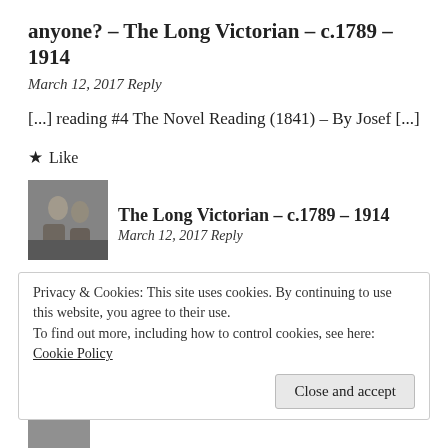anyone? – The Long Victorian – c.1789 – 1914
March 12, 2017 Reply
[...] reading #4 The Novel Reading (1841) – By Josef [...]
★ Like
[Figure (photo): Grayscale avatar/portrait image of two figures]
The Long Victorian – c.1789 – 1914
March 12, 2017 Reply
Privacy & Cookies: This site uses cookies. By continuing to use this website, you agree to their use.
To find out more, including how to control cookies, see here:
Cookie Policy
Close and accept